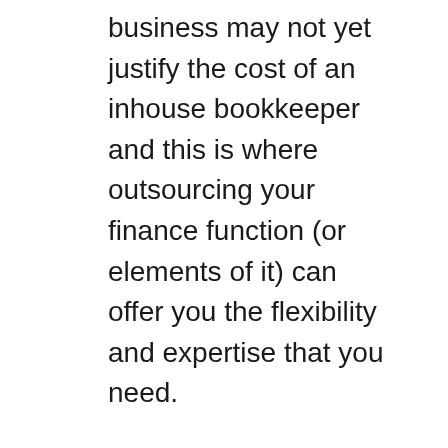business may not yet justify the cost of an inhouse bookkeeper and this is where outsourcing your finance function (or elements of it) can offer you the flexibility and expertise that you need.
We know the importance business owners place on being able to access regular, accurate business accounting records.
ABG's outsourced accounting team can prepare your bookkeeping on a weekly, monthly, quarterly or on an as required basis and in the majority of cases we would recommend using market leading software such as Xero. Utilising the functions of Xero